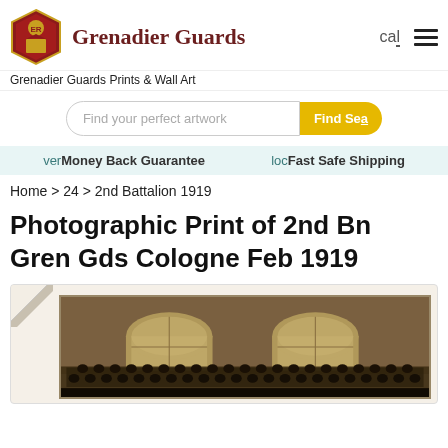Grenadier Guards
Grenadier Guards Prints & Wall Art
Find your perfect artwork
✔ Money Back Guarantee    🔒 Fast Safe Shipping
Home > 24 > 2nd Battalion 1919
Photographic Print of 2nd Bn Gren Gds Cologne Feb 1919
[Figure (photo): Sepia photographic print showing soldiers of the 2nd Battalion Grenadier Guards posed in front of a brick building with two large arched windows, Cologne, February 1919. The photograph shows rows of uniformed soldiers in front of the building facade.]